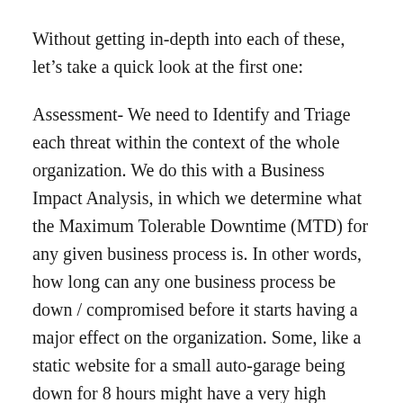Without getting in-depth into each of these, let's take a quick look at the first one:
Assessment- We need to Identify and Triage each threat within the context of the whole organization. We do this with a Business Impact Analysis, in which we determine what the Maximum Tolerable Downtime (MTD) for any given business process is. In other words, how long can any one business process be down / compromised before it starts having a major effect on the organization. Some, like a static website for a small auto-garage being down for 8 hours might have a very high MTD, hence, have a low priority in the event of an emergency, but for others, let's say an ecommerce site like eBay, being